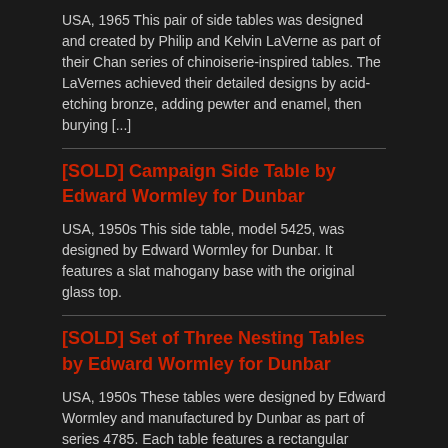USA, 1965 This pair of side tables was designed and created by Philip and Kelvin LaVerne as part of their Chan series of chinoiserie-inspired tables. The LaVernes achieved their detailed designs by acid-etching bronze, adding pewter and enamel, then burying [...]
[SOLD] Campaign Side Table by Edward Wormley for Dunbar
USA, 1950s This side table, model 5425, was designed by Edward Wormley for Dunbar. It features a slat mahogany base with the original glass top.
[SOLD] Set of Three Nesting Tables by Edward Wormley for Dunbar
USA, 1950s These tables were designed by Edward Wormley and manufactured by Dunbar as part of series 4785. Each table features a rectangular walnut top on square mahogany legs. The smallest table has four stretchers, while the other two have [...]
[SOLD] Hand-Hammered Iron Side Table in the